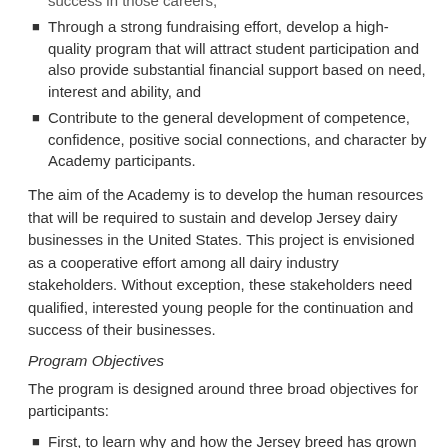success in those careers;
Through a strong fundraising effort, develop a high-quality program that will attract student participation and also provide substantial financial support based on need, interest and ability, and
Contribute to the general development of competence, confidence, positive social connections, and character by Academy participants.
The aim of the Academy is to develop the human resources that will be required to sustain and develop Jersey dairy businesses in the United States. This project is envisioned as a cooperative effort among all dairy industry stakeholders. Without exception, these stakeholders need qualified, interested young people for the continuation and success of their businesses.
Program Objectives
The program is designed around three broad objectives for participants:
First, to learn why and how the Jersey breed has grown